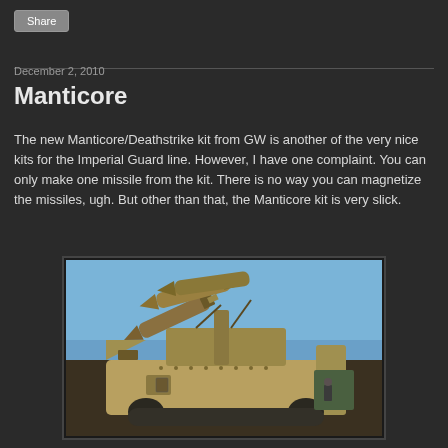Share
December 2, 2010
Manticore
The new Manticore/Deathstrike kit from GW is another of the very nice kits for the Imperial Guard line. However, I have one complaint. You can only make one missile from the kit. There is no way you can magnetize the missiles, ugh. But other than that, the Manticore kit is very slick.
[Figure (photo): A painted Warhammer 40K Manticore/Deathstrike tank model with missiles on a launcher, desert tan colored hull with green side panels, photographed against a blue sky background.]